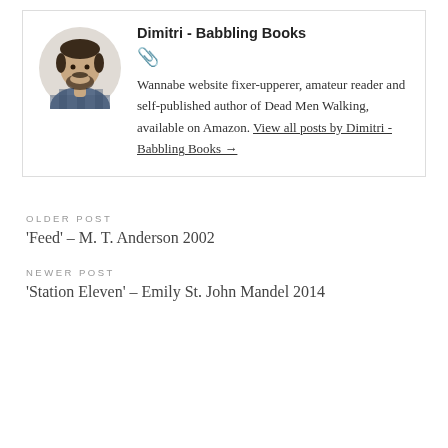Dimitri - Babbling Books
[Figure (photo): Circular profile photo of Dimitri, a man with a beard smiling, wearing a plaid shirt]
Wannabe website fixer-upperer, amateur reader and self-published author of Dead Men Walking, available on Amazon. View all posts by Dimitri - Babbling Books →
OLDER POST
'Feed' – M. T. Anderson 2002
NEWER POST
'Station Eleven' – Emily St. John Mandel 2014